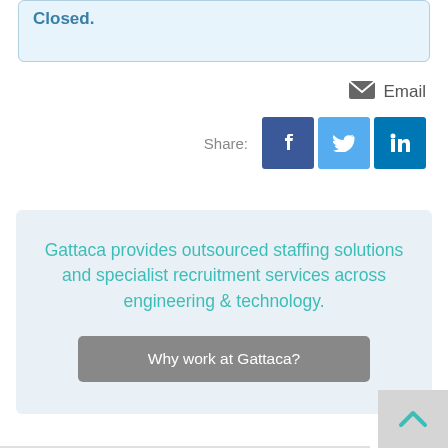Closed.
[Figure (infographic): Email icon with label 'Email' and social share buttons for Facebook, Twitter, and LinkedIn]
Gattaca provides outsourced staffing solutions and specialist recruitment services across engineering & technology.
Why work at Gattaca?